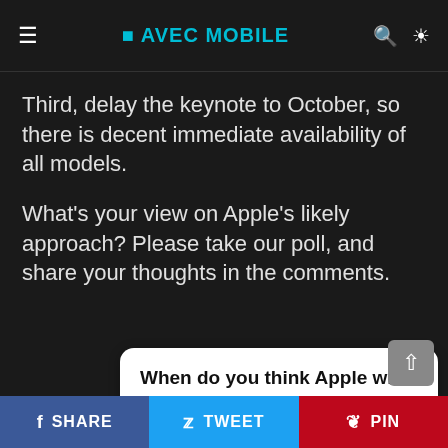☰ AVEC MOBILE 🔍 ☀
Third, delay the keynote to October, so there is decent immediate availability of all models.
What's your view on Apple's likely approach? Please take our poll, and share your thoughts in the comments.
When do you think Apple will launch this year's iPhones?
September keynote, all models available, some in limited quantities
SHARE  TWEET  PIN